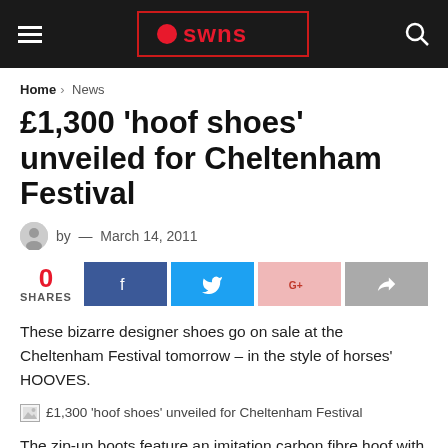a swns
Home > News
£1,300 'hoof shoes' unveiled for Cheltenham Festival
by — March 14, 2011
0 SHARES
These bizarre designer shoes go on sale at the Cheltenham Festival tomorrow – in the style of horses' HOOVES.
[Figure (photo): Image placeholder for £1,300 'hoof shoes' unveiled for Cheltenham Festival]
The zip-up boots feature an imitation carbon fibre hoof with up to 5,000 individual horse hairs stitched into a knee